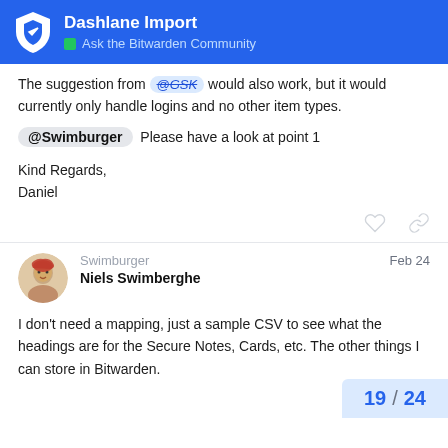Dashlane Import — Ask the Bitwarden Community
The suggestion from @GSK would also work, but it would currently only handle logins and no other item types.
@Swimburger Please have a look at point 1
Kind Regards,
Daniel
Swimburger — Niels Swimberghe — Feb 24
I don't need a mapping, just a sample CSV to see what the headings are for the Secure Notes, Cards, etc. The other things I can store in Bitwarden.
19 / 24